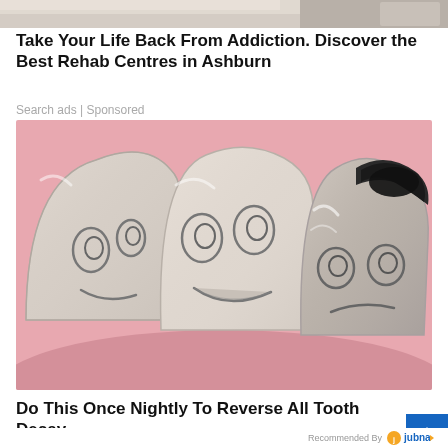[Figure (photo): Top portion of an advertisement image, partially cropped — appears to show a person in a medical or office setting]
Take Your Life Back From Addiction. Discover the Best Rehab Centres in Ashburn
Search ads | Sponsored
[Figure (illustration): Three cartoon teeth with sad faces, one tooth on the right has a large dark cavity/decay hole at the top, set against a pink gum background]
Do This Once Nightly To Reverse All Tooth Decay
iamhealth.life | Sponsored
Recommended By jubna